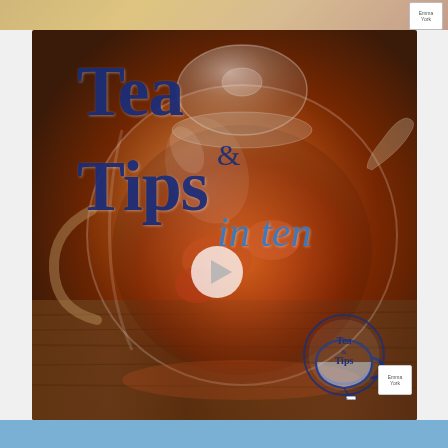[Figure (photo): Partial top strip showing a tea scene background image, cropped at top of page]
[Figure (photo): Glass teapot filled with red herbal tea brewing, on a wooden surface. Overlaid with large bold text 'Tea & Tips in ten' in dark blue and medium blue serif/italic fonts. A white play button triangle is centered in the image. A circular logo with 'Tea & Tips' text and teacup illustration is in the bottom right corner. A small 'Emma' branded tag appears in the bottom right.]
Tea & Tips in ten